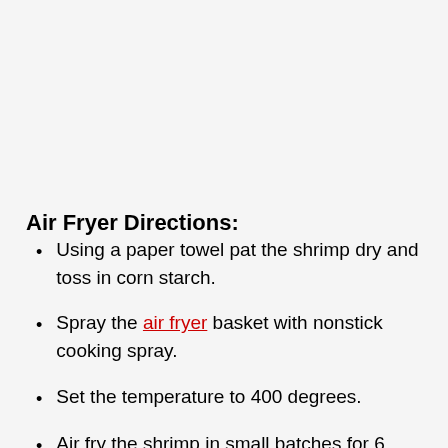Air Fryer Directions:
Using a paper towel pat the shrimp dry and toss in corn starch.
Spray the air fryer basket with nonstick cooking spray.
Set the temperature to 400 degrees.
Air fry the shrimp in small batches for 6